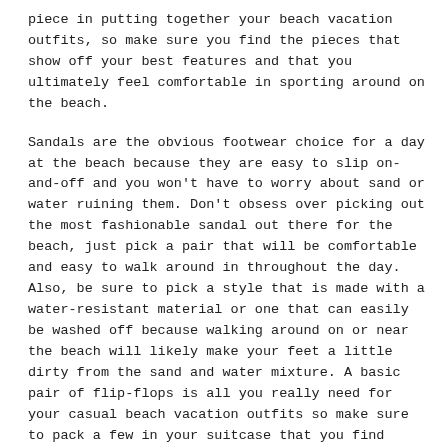piece in putting together your beach vacation outfits, so make sure you find the pieces that show off your best features and that you ultimately feel comfortable in sporting around on the beach.
Sandals are the obvious footwear choice for a day at the beach because they are easy to slip on-and-off and you won't have to worry about sand or water ruining them. Don't obsess over picking out the most fashionable sandal out there for the beach, just pick a pair that will be comfortable and easy to walk around in throughout the day. Also, be sure to pick a style that is made with a water-resistant material or one that can easily be washed off because walking around on or near the beach will likely make your feet a little dirty from the sand and water mixture. A basic pair of flip-flops is all you really need for your casual beach vacation outfits so make sure to pack a few in your suitcase that you find suitable.